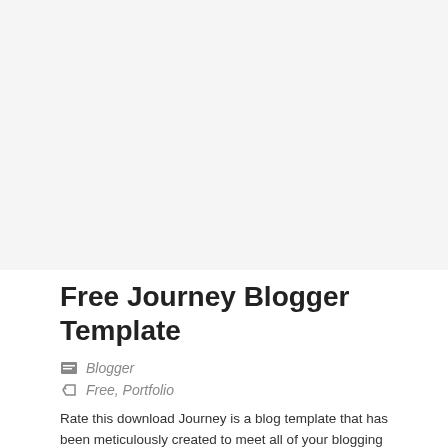[Figure (other): Large image placeholder area at the top of the page (white/light gray background)]
Free Journey Blogger Template
Blogger
Free, Portfolio
Rate this download Journey is a blog template that has been meticulously created to meet all of your blogging